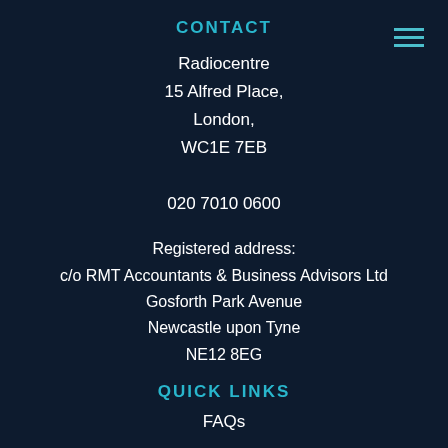CONTACT
Radiocentre
15 Alfred Place,
London,
WC1E 7EB

020 7010 0600
Registered address:
c/o RMT Accountants & Business Advisors Ltd
Gosforth Park Avenue
Newcastle upon Tyne
NE12 8EG
QUICK LINKS
FAQs